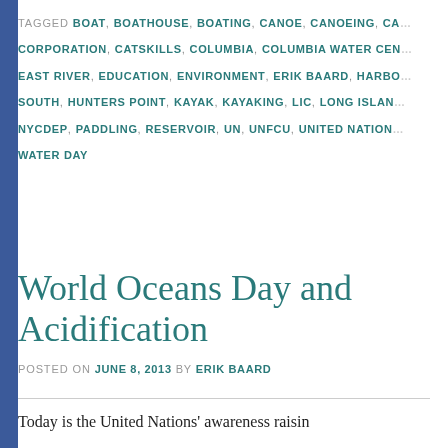TAGGED BOAT, BOATHOUSE, BOATING, CANOE, CANOEING, CA... CORPORATION, CATSKILLS, COLUMBIA, COLUMBIA WATER CEN... EAST RIVER, EDUCATION, ENVIRONMENT, ERIK BAARD, HARBO... SOUTH, HUNTERS POINT, KAYAK, KAYAKING, LIC, LONG ISLAN... NYCDEP, PADDLING, RESERVOIR, UN, UNFCU, UNITED NATION... WATER DAY
World Oceans Day and Acidification
POSTED ON JUNE 8, 2013 BY ERIK BAARD
Today is the United Nations' awareness raisin...